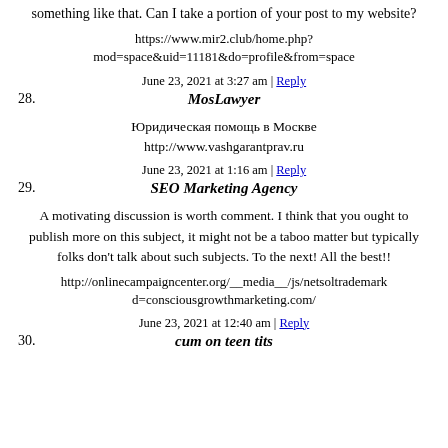something like that. Can I take a portion of your post to my website?
https://www.mir2.club/home.php?mod=space&uid=11181&do=profile&from=space
June 23, 2021 at 3:27 am | Reply
28. MosLawyer
Юридическая помощь в Москве
http://www.vashgarantprav.ru
June 23, 2021 at 1:16 am | Reply
29. SEO Marketing Agency
A motivating discussion is worth comment. I think that you ought to publish more on this subject, it might not be a taboo matter but typically folks don't talk about such subjects. To the next! All the best!!
http://onlinecampaigncenter.org/__media__/js/netsoltrademark?d=consciousgrowthmarketing.com/
June 23, 2021 at 12:40 am | Reply
30. cum on teen tits